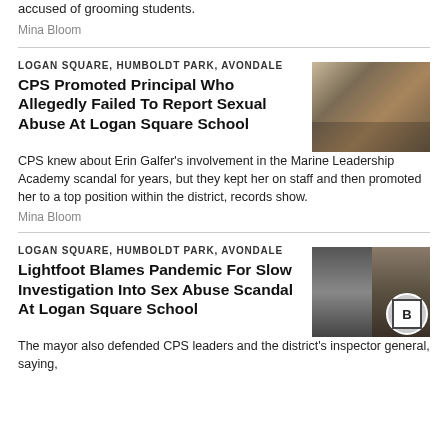accused of grooming students.
Mina Bloom
LOGAN SQUARE, HUMBOLDT PARK, AVONDALE
CPS Promoted Principal Who Allegedly Failed To Report Sexual Abuse At Logan Square School
[Figure (photo): People holding signs at a protest outside a school building]
CPS knew about Erin Galfer's involvement in the Marine Leadership Academy scandal for years, but they kept her on staff and then promoted her to a top position within the district, records show.
Mina Bloom
LOGAN SQUARE, HUMBOLDT PARK, AVONDALE
Lightfoot Blames Pandemic For Slow Investigation Into Sex Abuse Scandal At Logan Square School
[Figure (photo): Collage of Mayor Lightfoot speaking and a document or device]
The mayor also defended CPS leaders and the district's inspector general, saying,